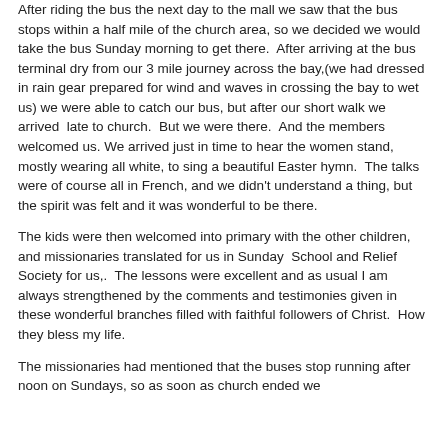After riding the bus the next day to the mall we saw that the bus stops within a half mile of the church area, so we decided we would take the bus Sunday morning to get there. After arriving at the bus terminal dry from our 3 mile journey across the bay,(we had dressed in rain gear prepared for wind and waves in crossing the bay to wet us) we were able to catch our bus, but after our short walk we arrived late to church. But we were there. And the members welcomed us. We arrived just in time to hear the women stand, mostly wearing all white, to sing a beautiful Easter hymn. The talks were of course all in French, and we didn't understand a thing, but the spirit was felt and it was wonderful to be there.
The kids were then welcomed into primary with the other children, and missionaries translated for us in Sunday School and Relief Society for us,. The lessons were excellent and as usual I am always strengthened by the comments and testimonies given in these wonderful branches filled with faithful followers of Christ. How they bless my life.
The missionaries had mentioned that the buses stop running after noon on Sundays, so as soon as church ended we